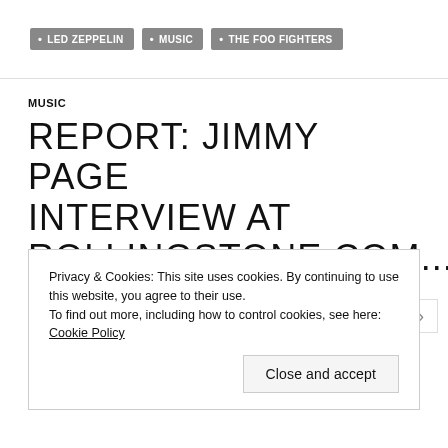• LED ZEPPELIN
• MUSIC
• THE FOO FIGHTERS
MUSIC
REPORT: JIMMY PAGE INTERVIEW AT ROLLINGSTONE.COM...
Privacy & Cookies: This site uses cookies. By continuing to use this website, you agree to their use.
To find out more, including how to control cookies, see here: Cookie Policy
Close and accept